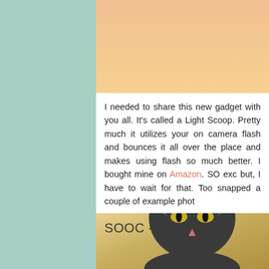[Figure (photo): Top portion of a photo with warm peach/orange tones, appears to be interior scene]
I needed to share this new gadget with you all. It's called a Light Scoop. Pretty much it utilizes your on camera flash and bounces it all over the place and makes using flash so much better. I bought mine on Amazon. SO exc but, I have to wait for that. Too snapped a couple of example phot
[Figure (photo): Photo labeled 'SOOC - Flash' showing a tabby cat with striped markings against a warm yellow/golden background]